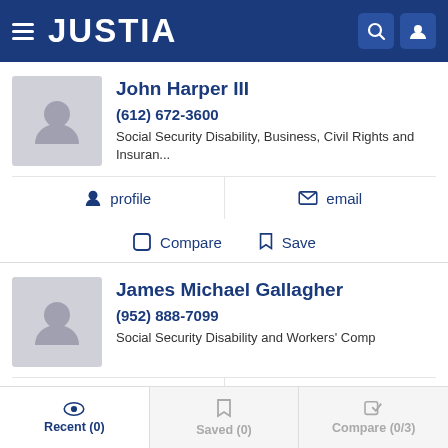JUSTIA
John Harper III
(612) 672-3600
Social Security Disability, Business, Civil Rights and Insuran...
profile  email
Compare  Save
James Michael Gallagher
(952) 888-7099
Social Security Disability and Workers' Comp
profile  email
Recent (0)  Saved (0)  Compare (0/3)